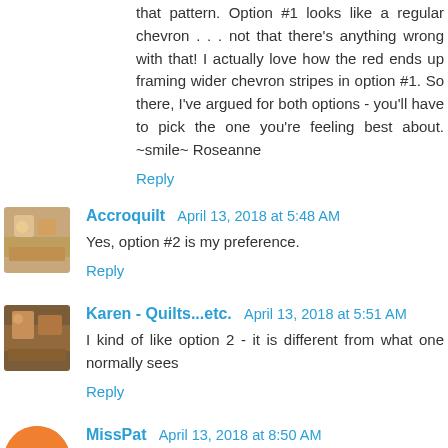that pattern. Option #1 looks like a regular chevron . . . not that there's anything wrong with that! I actually love how the red ends up framing wider chevron stripes in option #1. So there, I've argued for both options - you'll have to pick the one you're feeling best about. ~smile~ Roseanne
Reply
Accroquilt  April 13, 2018 at 5:48 AM
Yes, option #2 is my preference.
Reply
Karen - Quilts...etc.  April 13, 2018 at 5:51 AM
I kind of like option 2 - it is different from what one normally sees
Reply
MissPat  April 13, 2018 at 8:50 AM